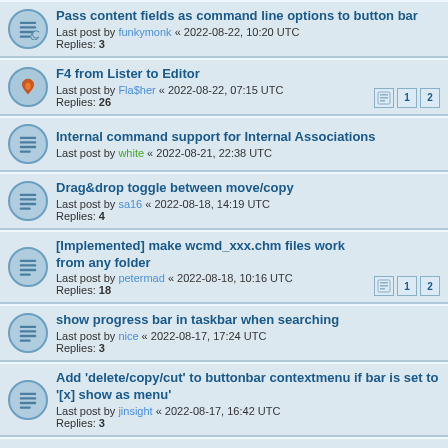Pass content fields as command line options to button bar
Last post by funkymonk « 2022-08-22, 10:20 UTC
Replies: 3
F4 from Lister to Editor
Last post by Fla$her « 2022-08-22, 07:15 UTC
Replies: 26
Internal command support for Internal Associations
Last post by white « 2022-08-21, 22:38 UTC
Drag&drop toggle between move/copy
Last post by sa16 « 2022-08-18, 14:19 UTC
Replies: 4
[Implemented] make wcmd_xxx.chm files work from any folder
Last post by petermad « 2022-08-18, 10:16 UTC
Replies: 18
show progress bar in taskbar when searching
Last post by nice « 2022-08-17, 17:24 UTC
Replies: 3
Add 'delete/copy/cut' to buttonbar contextmenu if bar is set to '[x] show as menu'
Last post by jinsight « 2022-08-17, 16:42 UTC
Replies: 3
[solved, manually change activetabcolor ini item]Change the color of tab default view mode
Last post by ghisler(Author) « 2022-08-16, 10:58 UTC
Replies: 7
Parameter to suppress quotation marks for adjacent